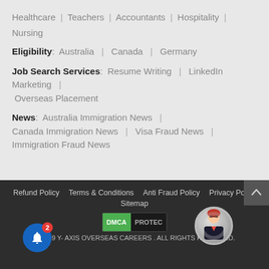Healthcare | Teachers | Accountants | Hospitality | Nursing
Eligibility: Australia | Canada | Germany
Job Search Services: Resume Writing | LinkedIn Marketing | Overseas Placement
News: Australia Immigration News | Canada Immigration News | Visa Fraud News | Immigration Fraud News
Refund Policy  Terms & Conditions  Anti Fraud Policy  Privacy Policy  Sitemap  © 2019 Y- AXIS OVERSEAS CAREERS . ALL RIGHTS RESERVED.